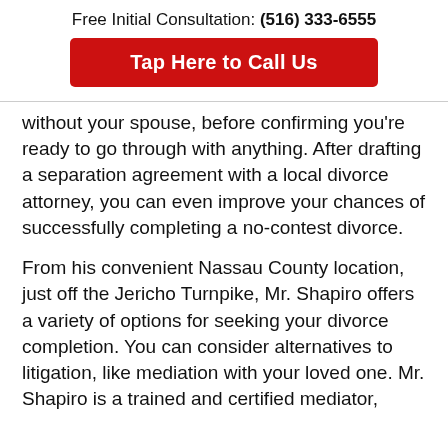Free Initial Consultation: (516) 333-6555
[Figure (other): Red call-to-action button: Tap Here to Call Us]
without your spouse, before confirming you're ready to go through with anything. After drafting a separation agreement with a local divorce attorney, you can even improve your chances of successfully completing a no-contest divorce.
From his convenient Nassau County location, just off the Jericho Turnpike, Mr. Shapiro offers a variety of options for seeking your divorce completion. You can consider alternatives to litigation, like mediation with your loved one. Mr. Shapiro is a trained and certified mediator,